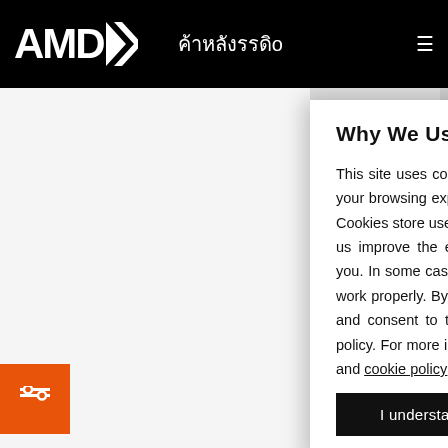[Figure (screenshot): AMD website navigation bar with AMD logo and Thai text menu]
Why We Use Cookies
This site uses cookies from us and our partners to make your browsing experience more convenient and personal. Cookies store useful information on your computer to help us improve the efficiency and relevance of our site for you. In some cases, they are essential to making the site work properly. By accessing this site, you direct us to use and consent to the use of cookies listed in the cookie policy. For more information, refer to AMD's privacy policy and cookie policy
I understand